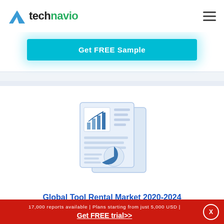technavio
Get FREE Sample
[Figure (illustration): Technavio market research report icon showing a document with a bar chart and pie chart graphic, two overlapping report pages in light blue/grey tones]
Global Tool Rental Market 2020-2024
$2500.00
17,000 reports available | Plans starting from just 5,000 USD | Get FREE trial>>